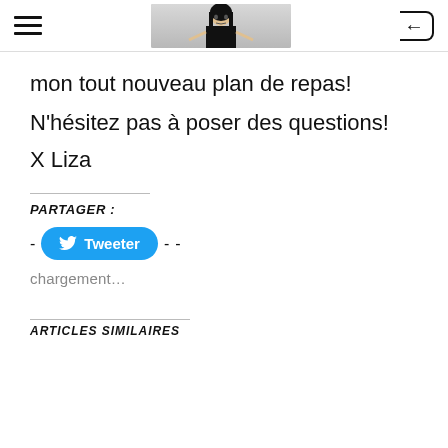Navigation header with hamburger menu, avatar image, and back button
mon tout nouveau plan de repas!
N'hésitez pas à poser des questions!
X Liza
PARTAGER :
- Tweeter - -
chargement…
ARTICLES SIMILAIRES